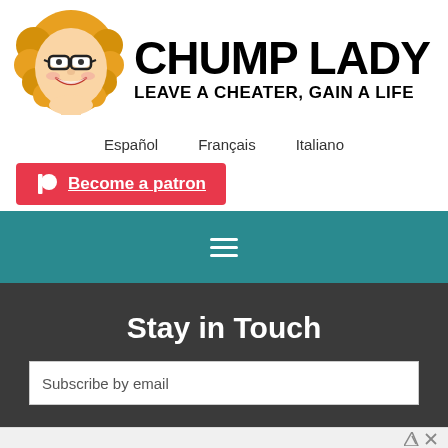[Figure (illustration): Cartoon illustration of a woman with curly blonde hair and glasses, smiling, used as the Chump Lady logo mascot]
CHUMP LADY
LEAVE A CHEATER, GAIN A LIFE
Español   Français   Italiano
Become a patron
[Figure (other): Teal navigation bar with hamburger menu icon (three horizontal white lines)]
Stay in Touch
Subscribe by email
Subscribe